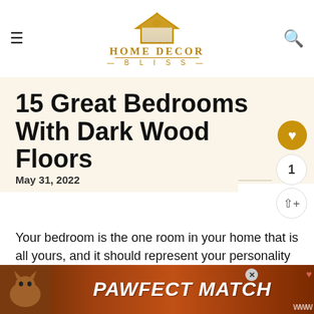HOME DECOR BLISS
15 Great Bedrooms With Dark Wood Floors
May 31, 2022
Your bedroom is the one room in your home that is all yours, and it should represent your personality and style. Dark wood floors can add tons of character to any bedroom, from traditional to modern
[Figure (screenshot): Advertisement banner for PAWFECT MATCH featuring a cat photo]